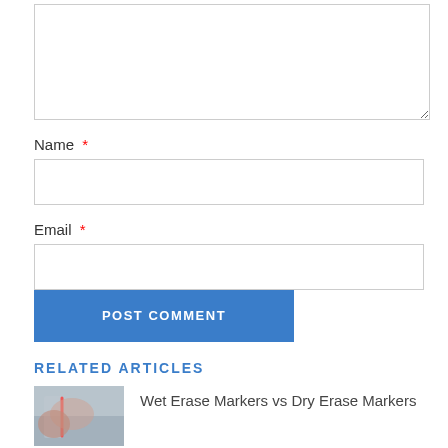[textarea input box]
Name *
[name input box]
Email *
[email input box]
POST COMMENT
RELATED ARTICLES
[Figure (photo): Photo thumbnail of a hand writing on a whiteboard with a marker]
Wet Erase Markers vs Dry Erase Markers